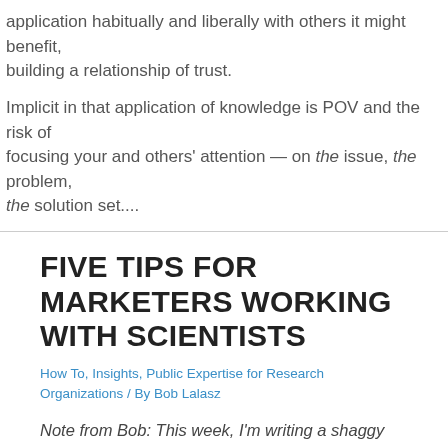application habitually and liberally with others it might benefit, building a relationship of trust.
Implicit in that application of knowledge is POV and the risk of focusing your and others' attention — on the issue, the problem, the solution set....
FIVE TIPS FOR MARKETERS WORKING WITH SCIENTISTS
How To, Insights, Public Expertise for Research Organizations / By Bob Lalasz
Note from Bob: This week, I'm writing a shaggy little series on marketers and scientists, and how to make that unpromising but all too common pairing work better. See all the emails.